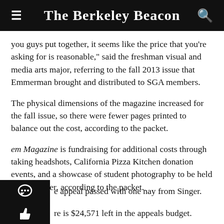The Berkeley Beacon
you guys put together, it seems like the price that you're asking for is reasonable," said the freshman visual and media arts major, referring to the fall 2013 issue that Emmerman brought and distributed to SGA members.
The physical dimensions of the magazine increased for the fall issue, so there were fewer pages printed to balance out the cost, according to the packet.
em Magazine is fundraising for additional costs through taking headshots, California Pizza Kitchen donation events, and a showcase of student photography to be held this semester, according to the packet.
e appeal passed with one nay from Singer.
re is $24,571 left in the appeals budget.